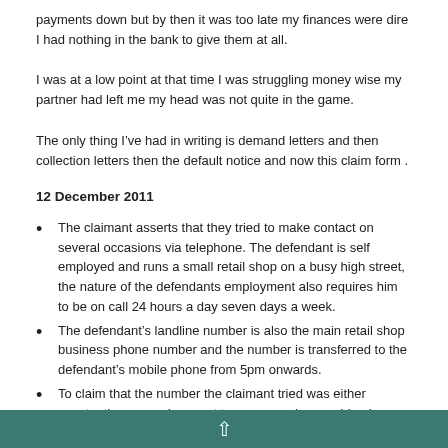payments down but by then it was too late my finances were dire I had nothing in the bank to give them at all.
I was at a low point at that time I was struggling money wise my partner had left me my head was not quite in the game.
The only thing I've had in writing is demand letters and then collection letters then the default notice and now this claim form .
12 December 2011
The claimant asserts that they tried to make contact on several occasions via telephone. The defendant is self employed and runs a small retail shop on a busy high street, the nature of the defendants employment also requires him to be on call 24 hours a day seven days a week.
The defendant's landline number is also the main retail shop business phone number and the number is transferred to the defendant's mobile phone from 5pm onwards.
To claim that the number the claimant tried was either constantly engaged or went to an answering machine is incorrect and would almost certainly affect my business if I
^